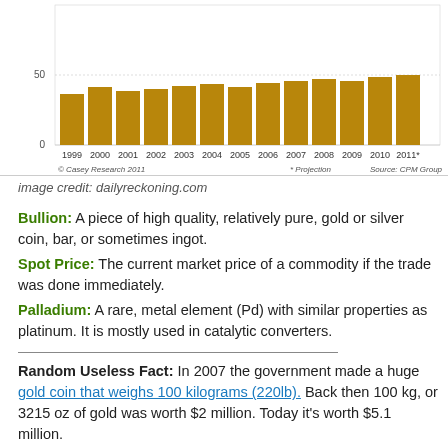[Figure (bar-chart): Gold bar chart (1999-2011)]
image credit: dailyreckoning.com
Bullion: A piece of high quality, relatively pure, gold or silver coin, bar, or sometimes ingot.
Spot Price: The current market price of a commodity if the trade was done immediately.
Palladium: A rare, metal element (Pd) with similar properties as platinum. It is mostly used in catalytic converters.
Random Useless Fact: In 2007 the government made a huge gold coin that weighs 100 kilograms (220lb). Back then 100 kg, or 3215 oz of gold was worth $2 million. Today it's worth $5.1 million.